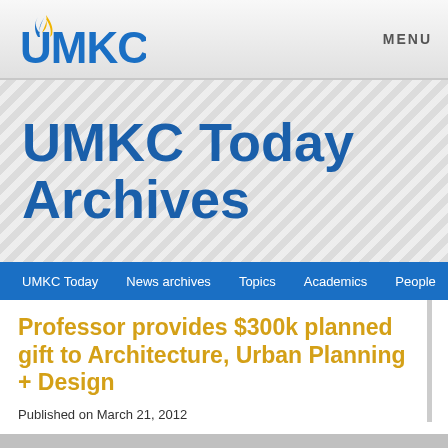[Figure (logo): UMKC university logo with blue text and gold flame icon]
MENU
UMKC Today Archives
UMKC Today  News archives  Topics  Academics  People
Professor provides $300k planned gift to Architecture, Urban Planning + Design
Published on March 21, 2012